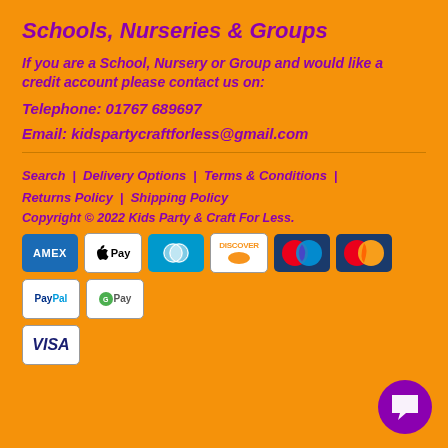Schools, Nurseries & Groups
If you are a School, Nursery or Group and would like a credit account please contact us on:
Telephone: 01767 689697
Email: kidspartycraftforless@gmail.com
Search | Delivery Options | Terms & Conditions | Returns Policy | Shipping Policy
Copyright © 2022 Kids Party & Craft For Less.
[Figure (other): Payment method icons: American Express, Apple Pay, Diners Club, Discover, Maestro, Mastercard, PayPal, Google Pay, Visa]